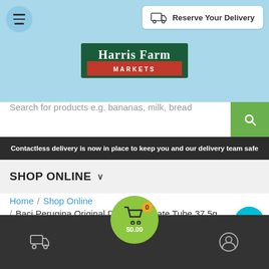[Figure (screenshot): Harris Farm Markets website header with menu button, Reserve Your Delivery button, Harris Farm Markets logo, search bar, announcement bar, shop online section, breadcrumb navigation, and bottom navigation bar with cart showing $0.00]
Reserve Your Delivery
HARRIS FARM MARKETS
Search for products e.g. bananas, milk, bread
Contactless delivery is now in place to keep you and our delivery team safe
SHOP ONLINE
Home / Shop Online / Baci Perugina Original Dark Chocolate Tube 37.5g
$0.00